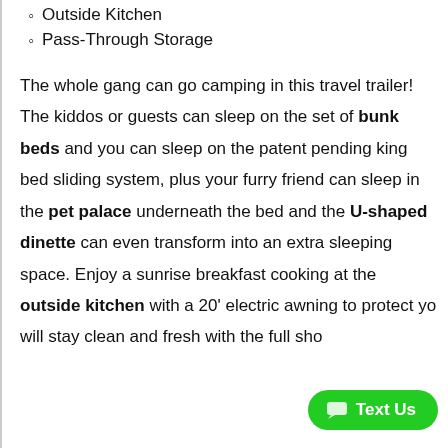Outside Kitchen
Pass-Through Storage
The whole gang can go camping in this travel trailer! The kiddos or guests can sleep on the set of bunk beds and you can sleep on the patent pending king bed sliding system, plus your furry friend can sleep in the pet palace underneath the bed and the U-shaped dinette can even transform into an extra sleeping space. Enjoy a sunrise breakfast cooking at the outside kitchen with a 20' electric awning to protect yo[u...] will stay clean and fresh with the full sho[wer...]